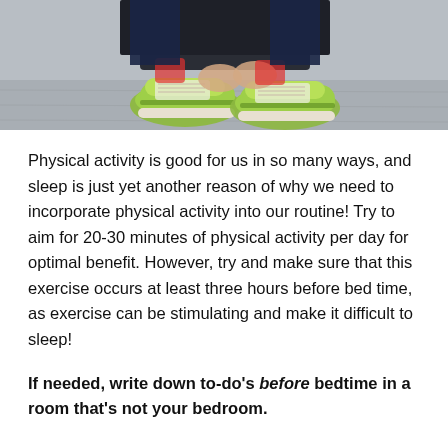[Figure (photo): Person tying shoelaces on green sneakers, crouching on pavement]
Physical activity is good for us in so many ways, and sleep is just yet another reason of why we need to incorporate physical activity into our routine! Try to aim for 20-30 minutes of physical activity per day for optimal benefit. However, try and make sure that this exercise occurs at least three hours before bed time, as exercise can be stimulating and make it difficult to sleep!
If needed, write down to-do’s before bedtime in a room that’s not your bedroom.